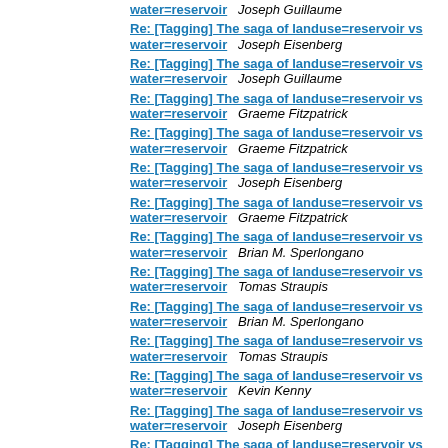water=reservoir   Joseph Guillaume
Re: [Tagging] The saga of landuse=reservoir vs water=reservoir   Joseph Eisenberg
Re: [Tagging] The saga of landuse=reservoir vs water=reservoir   Joseph Guillaume
Re: [Tagging] The saga of landuse=reservoir vs water=reservoir   Graeme Fitzpatrick
Re: [Tagging] The saga of landuse=reservoir vs water=reservoir   Graeme Fitzpatrick
Re: [Tagging] The saga of landuse=reservoir vs water=reservoir   Joseph Eisenberg
Re: [Tagging] The saga of landuse=reservoir vs water=reservoir   Graeme Fitzpatrick
Re: [Tagging] The saga of landuse=reservoir vs water=reservoir   Brian M. Sperlongano
Re: [Tagging] The saga of landuse=reservoir vs water=reservoir   Tomas Straupis
Re: [Tagging] The saga of landuse=reservoir vs water=reservoir   Brian M. Sperlongano
Re: [Tagging] The saga of landuse=reservoir vs water=reservoir   Tomas Straupis
Re: [Tagging] The saga of landuse=reservoir vs water=reservoir   Kevin Kenny
Re: [Tagging] The saga of landuse=reservoir vs water=reservoir   Joseph Eisenberg
Re: [Tagging] The saga of landuse=reservoir vs water=reservoir   Kevin Kenny
Re: [Tagging] The saga of landuse=reservoir vs water=reservoir   Tomas Straupis
Re: [Tagging] The saga of landuse=reservoir vs water=reservoir